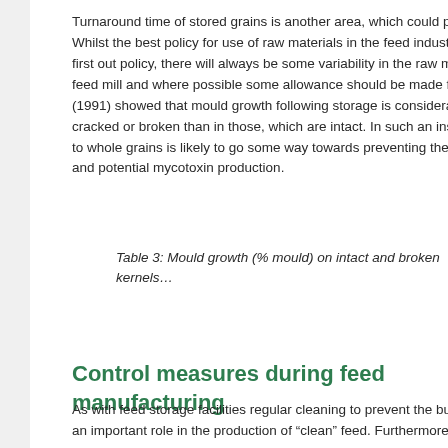Turnaround time of stored grains is another area, which could pos... Whilst the best policy for use of raw materials in the feed industry first out policy, there will always be some variability in the raw mat... feed mill and where possible some allowance should be made for (1991) showed that mould growth following storage is considerabl... cracked or broken than in those, which are intact. In such an insta... to whole grains is likely to go some way towards preventing the bu... and potential mycotoxin production.
Table 3: Mould growth (% mould) on intact and broken kernels...
Control measures during feed manufacturing
As with feed storage facilities regular cleaning to prevent the build... an important role in the production of "clean" feed. Furthermore, re...